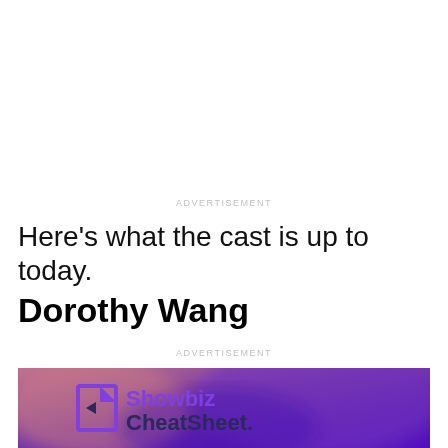Here's what the cast is up to today.
ADVERTISEMENT
Dorothy Wang
ADVERTISEMENT
[Figure (photo): Blurred purple/pink background photo with Showbiz CheatSheet logo overlaid in purple and dark gray text]